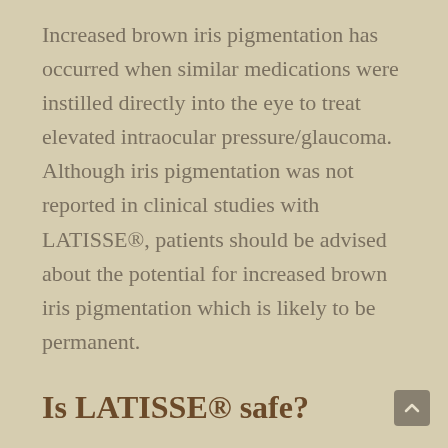Increased brown iris pigmentation has occurred when similar medications were instilled directly into the eye to treat elevated intraocular pressure/glaucoma. Although iris pigmentation was not reported in clinical studies with LATISSE®, patients should be advised about the potential for increased brown iris pigmentation which is likely to be permanent.
Is LATISSE® safe?